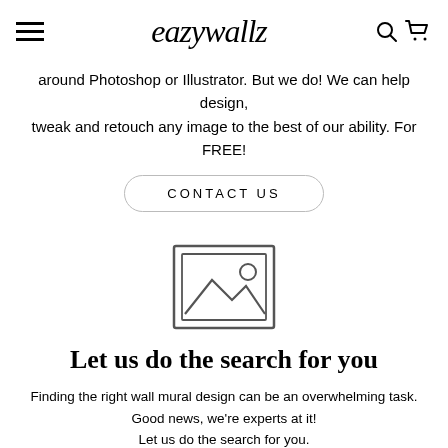eazywallz
around Photoshop or Illustrator. But we do! We can help design, tweak and retouch any image to the best of our ability. For FREE!
CONTACT US
[Figure (illustration): Image placeholder icon — a rectangle with a landscape image icon (mountain outline and sun circle) inside]
Let us do the search for you
Finding the right wall mural design can be an overwhelming task.
Good news, we're experts at it!
Let us do the search for you.